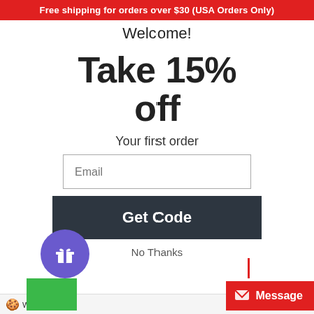Free shipping for orders over $30 (USA Orders Only)
Welcome!
Blac
c
superh
of th
the B
Panthe
Black P
been
pop
e
uccess
an of
Black
ensed
you've
c con
Take 15% off
Your first order
Email
Get Code
No Thanks
We
Learn